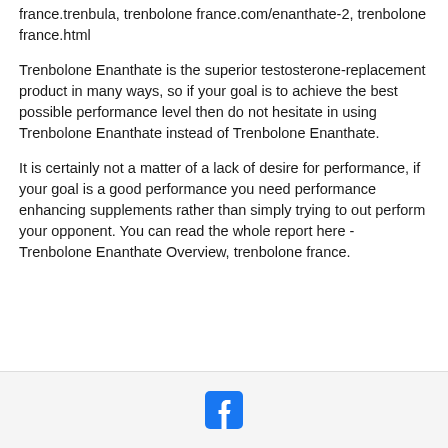france.trenbula, trenbolone france.com/enanthate-2, trenbolone france.html
Trenbolone Enanthate is the superior testosterone-replacement product in many ways, so if your goal is to achieve the best possible performance level then do not hesitate in using Trenbolone Enanthate instead of Trenbolone Enanthate.
It is certainly not a matter of a lack of desire for performance, if your goal is a good performance you need performance enhancing supplements rather than simply trying to out perform your opponent. You can read the whole report here - Trenbolone Enanthate Overview, trenbolone france.
[Figure (logo): Facebook logo icon in a rounded square, blue background with white f]